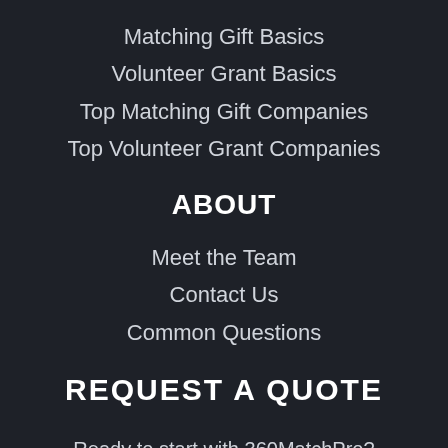Matching Gift Basics
Volunteer Grant Basics
Top Matching Gift Companies
Top Volunteer Grant Companies
ABOUT
Meet the Team
Contact Us
Common Questions
REQUEST A QUOTE
Ready to start with 360MatchPro? Request a quote today!